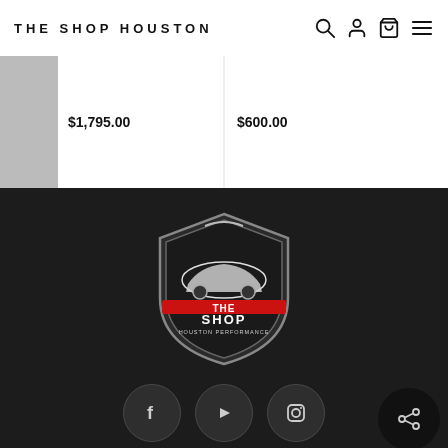THE SHOP HOUSTON
$1,795.00
$600.00
[Figure (logo): The Shop Houston shield-shaped logo with car silhouette and red accent stripe]
[Figure (infographic): Social media icons: Facebook, YouTube, Instagram, and a share button]